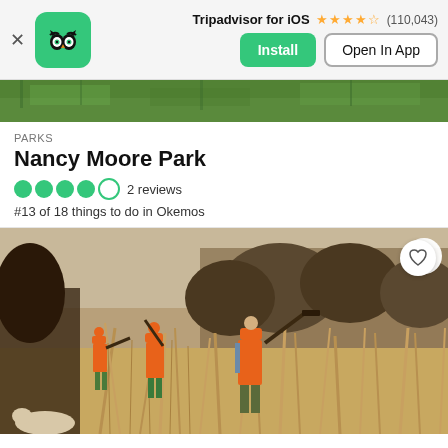[Figure (screenshot): Tripadvisor app banner with owl logo icon, app name 'Tripadvisor for iOS', star rating 4.5 stars (110,043 reviews), Install and Open In App buttons]
[Figure (photo): Grass strip background photo showing green lawn]
PARKS
Nancy Moore Park
4 out of 5 circles (green dots) · 2 reviews
#13 of 18 things to do in Okemos
[Figure (photo): Hunters in orange safety vests walking through tall dry grass field, carrying rifles. A white dog visible in lower left.]